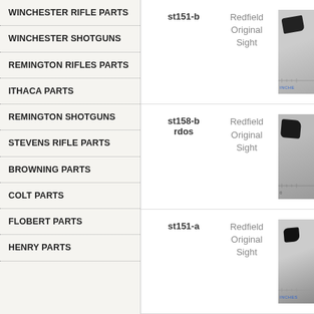WINCHESTER RIFLE PARTS
WINCHESTER SHOTGUNS
REMINGTON RIFLES PARTS
ITHACA PARTS
REMINGTON SHOTGUNS
STEVENS RIFLE PARTS
BROWNING PARTS
COLT PARTS
FLOBERT PARTS
HENRY PARTS
| Item ID | Description | Image |
| --- | --- | --- |
| st151-b | Redfield Original Sight | [photo] |
| st158-b rdos | Redfield Original Sight | [photo] |
| st151-a | Redfield Original Sight | [photo] |